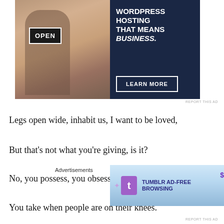[Figure (infographic): WordPress Hosting advertisement banner. Left side shows a photo of a person holding an 'OPEN' sign. Right side has dark navy background with white bold text: 'WORDPRESS HOSTING THAT MEANS BUSINESS.' and a 'LEARN MORE' button with white border.]
REPORT THIS AD
Legs open wide, inhabit us, I want to be loved,
But that’s not what you’re giving, is it?
No, you possess, you obsess, you devour my childhood,
You take when people are on their knees.
Advertisements
[Figure (infographic): Tumblr Ad-Free Browsing advertisement. Blue gradient background with Tumblr logo, sparkle decorations, text 'TUMBLR AD-FREE BROWSING' and price '$39.99 a year or $4.99 a month' in purple.]
REPORT THIS AD